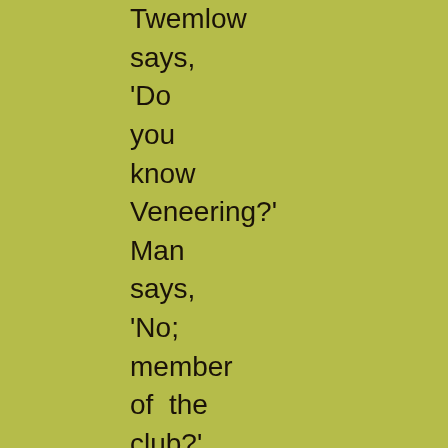Twemlow says, 'Do you know Veneering?' Man says, 'No; member of the club?' Twemlow says, 'Yes. Coming in for Pocket-Breaches.' M...